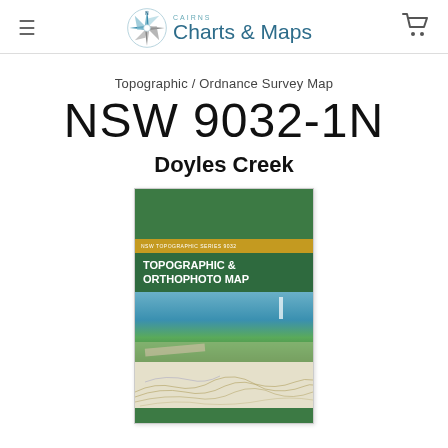Cairns Charts & Maps
Topographic / Ordnance Survey Map
NSW 9032-1N
Doyles Creek
[Figure (photo): Product image of NSW Topographic & Orthophoto Map folded map cover showing coastal landscape, topo lines, and NSW Land & Property Information branding]